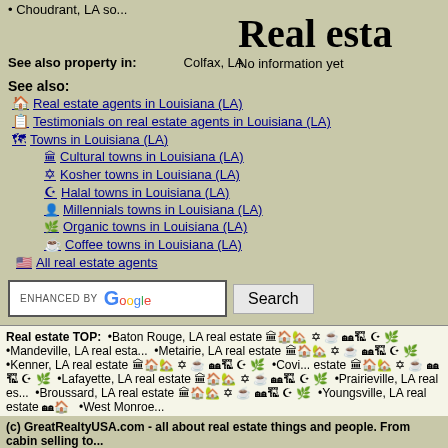Choudrant, LA so...
Real esta
No information yet
See also property in:   Colfax, LA
See also:
Real estate agents in Louisiana (LA)
Testimonials on real estate agents in Louisiana (LA)
Towns in Louisiana (LA)
Cultural towns in Louisiana (LA)
Kosher towns in Louisiana (LA)
Halal towns in Louisiana (LA)
Millennials towns in Louisiana (LA)
Organic towns in Louisiana (LA)
Coffee towns in Louisiana (LA)
All real estate agents
[Figure (other): Enhanced by Google search bar with Search button]
Real estate TOP: •Baton Rouge, LA real estate ... •Mandeville, LA real esta... •Metairie, LA real estate ... •Kenner, LA real estate ... •Covi... estate ... •Lafayette, LA real estate ... •Prairieville, LA real es... •Broussard, LA real estate ... •Youngsville, LA real estate ... •West Monroe...
(c) GreatRealtyUSA.com - all about real estate things and people. From cabin selling to... All rights reserved.
Home | Contact us | Realtors testimonials | Sitemap | 474 ZIPs updated